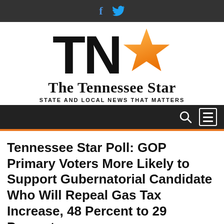[Figure (logo): The Tennessee Star newspaper logo with TN letters and orange star, tagline STATE AND LOCAL NEWS THAT MATTERS]
Tennessee Star Poll: GOP Primary Voters More Likely to Support Gubernatorial Candidate Who Will Repeal Gas Tax Increase, 48 Percent to 29 Percent